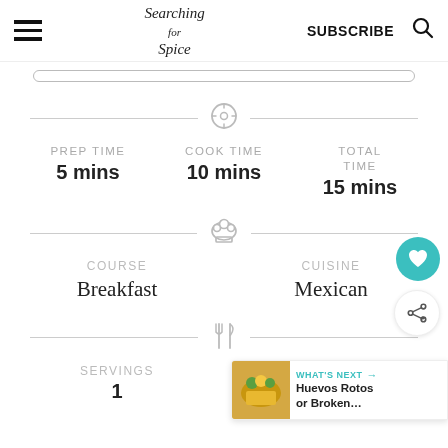Searching for Spice | SUBSCRIBE
PREP TIME 5 mins | COOK TIME 10 mins | TOTAL TIME 15 mins
COURSE: Breakfast | CUISINE: Mexican
SERVINGS: 1 | CALORIES: 354 kcal
[Figure (other): What's Next panel with Huevos Rotos or Broken... thumbnail]